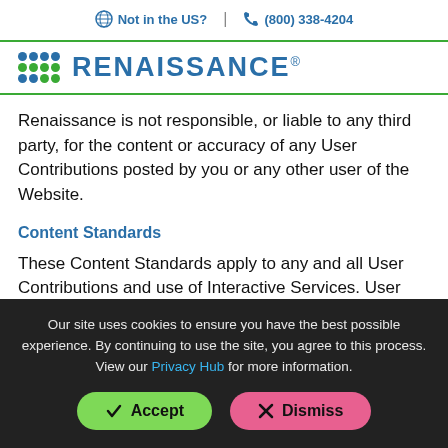Not in the US?  |  (800) 338-4204
[Figure (logo): Renaissance logo with blue and green dot grid and Renaissance wordmark]
Renaissance is not responsible, or liable to any third party, for the content or accuracy of any User Contributions posted by you or any other user of the Website.
Content Standards
These Content Standards apply to any and all User Contributions and use of Interactive Services. User Contributions must in their entirety comply with all
Our site uses cookies to ensure you have the best possible experience. By continuing to use the site, you agree to this process. View our Privacy Hub for more information.